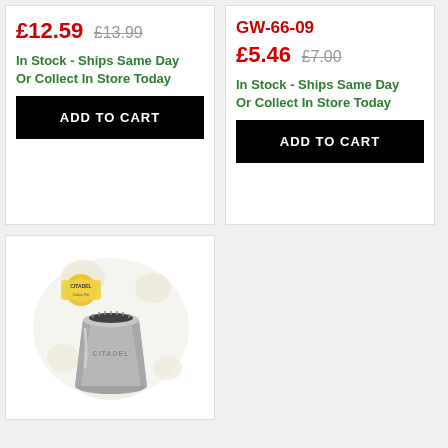£12.59  £13.99
In Stock - Ships Same Day
Or Collect In Store Today
ADD TO CART
GW-66-09
£5.46  £7.00
In Stock - Ships Same Day
Or Collect In Store Today
ADD TO CART
[Figure (photo): Citadel Color Pot product - a grey cylindrical paint pot with Citadel branding, shown in product packaging with the Citadel Color Pot logo]